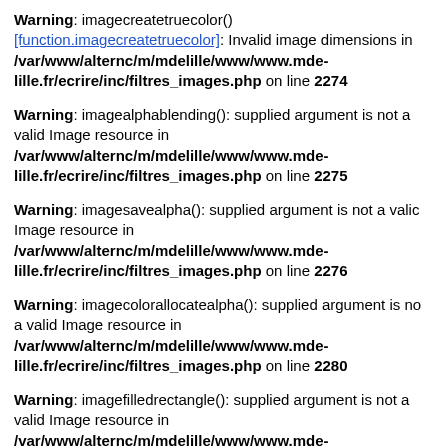Warning: imagecreatetruecolor() [function.imagecreatetruecolor]: Invalid image dimensions in /var/www/alternc/m/mdelille/www/www.mdelille.fr/ecrire/inc/filtres_images.php on line 2274
Warning: imagealphablending(): supplied argument is not a valid Image resource in /var/www/alternc/m/mdelille/www/www.mdelille.fr/ecrire/inc/filtres_images.php on line 2275
Warning: imagesavealpha(): supplied argument is not a valid Image resource in /var/www/alternc/m/mdelille/www/www.mdelille.fr/ecrire/inc/filtres_images.php on line 2276
Warning: imagecolorallocatealpha(): supplied argument is not a valid Image resource in /var/www/alternc/m/mdelille/www/www.mdelille.fr/ecrire/inc/filtres_images.php on line 2280
Warning: imagefilledrectangle(): supplied argument is not a valid Image resource in /var/www/alternc/m/mdelille/www/www.mdelille.fr/ecrire/inc/filtres_images.php on line 2281